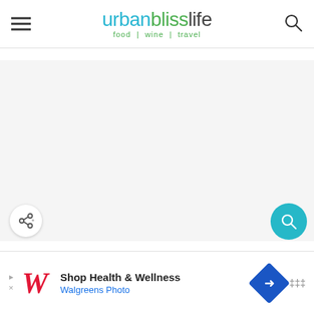[Figure (logo): Urban Bliss Life website header logo with text 'urbanblisslife food | wine | travel' in teal, green, and dark gray colors, hamburger menu icon on left, search icon on right]
[Figure (other): Green navigation bar with faint white highlight bar in center]
[Figure (other): Light gray content area (blank/loading)]
[Figure (other): White circular share button with share icon (bottom left), teal circular search button (bottom right)]
[Figure (other): Advertisement bar at bottom: Walgreens Photo ad with red italic W logo, 'Shop Health & Wellness' title, 'Walgreens Photo' subtitle in blue, blue diamond navigation icon]